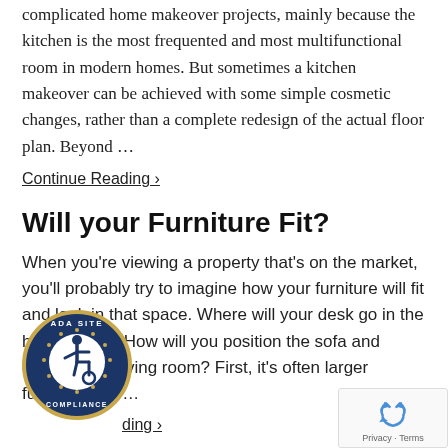complicated home makeover projects, mainly because the kitchen is the most frequented and most multifunctional room in modern homes. But sometimes a kitchen makeover can be achieved with some simple cosmetic changes, rather than a complete redesign of the actual floor plan. Beyond …
Continue Reading ›
Will your Furniture Fit?
When you're viewing a property that's on the market, you'll probably try to imagine how your furniture will fit and look in that space. Where will your desk go in the home office? How will you position the sofa and chairs in the living room? First, it's often larger furniture that …
Continue Reading ›
[Figure (logo): ADA Site Compliance badge - circular seal with wheelchair accessibility icon]
[Figure (logo): reCAPTCHA widget with recycling arrow icon and Privacy · Terms text]
Judgments Buyers Make in the First 30 Seconds